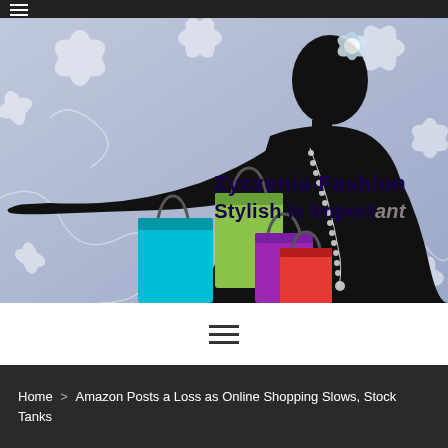≡ (hamburger menu icon)
[Figure (illustration): Fashion blog banner image with a lavender/blue floral background, a black silhouette of a woman in profile with a white flower in her hair and a pearl necklace, and colorful shopping bags (cyan, green, magenta, red). Text overlay reads 'Zyczenia-Fashion Stylish Is Important'.]
≡ (hamburger navigation icon)
Home > Amazon Posts a Loss as Online Shopping Slows, Stock Tanks